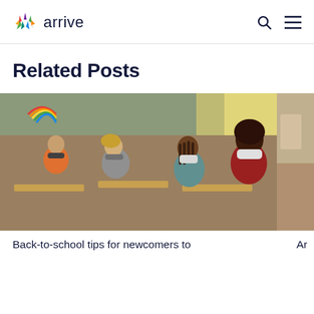arrive
Related Posts
[Figure (photo): Children and a teacher sitting at school desks in a classroom, all wearing face masks. A rainbow poster is visible on the wall in the background.]
Back-to-school tips for newcomers to